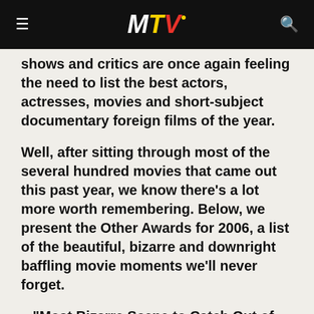MTV
shows and critics are once again feeling the need to list the best actors, actresses, movies and short-subject documentary foreign films of the year.
Well, after sitting through most of the several hundred movies that came out this past year, we know there's a lot more worth remembering. Below, we present the Other Awards for 2006, a list of the beautiful, bizarre and downright baffling movie moments we'll never forget.
» "Most Bizarre Scene to Catch Out of Context" Award -- The final reel of "Wicker Man," which features Nicolas Cage dressed in a bear suit and punching women in the face.